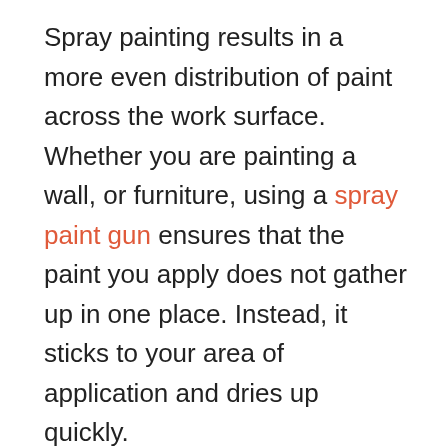Spray painting results in a more even distribution of paint across the work surface. Whether you are painting a wall, or furniture, using a spray paint gun ensures that the paint you apply does not gather up in one place. Instead, it sticks to your area of application and dries up quickly.
Typically, with brush painting, some amount of paint drizzles down and gathers up at the lower end of the surface. So, you always need to be aware of this and sand it off if it accumulates too much. However, with spray paint, you do not need to worry about any bumps on the surface as the paint is applied evenly.